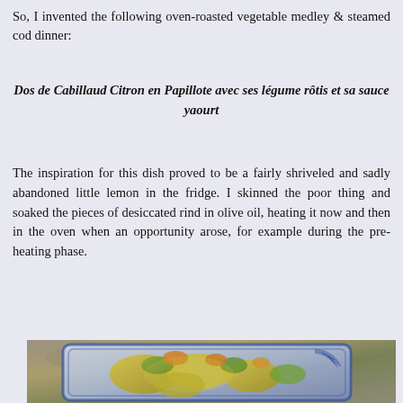So, I invented the following oven-roasted vegetable medley & steamed cod dinner:
Dos de Cabillaud Citron en Papillote avec ses légume rôtis et sa sauce yaourt
The inspiration for this dish proved to be a fairly shriveled and sadly abandoned little lemon in the fridge. I skinned the poor thing and soaked the pieces of desiccated rind in olive oil, heating it now and then in the oven when an opportunity arose, for example during the pre-heating phase.
[Figure (photo): A blue and white ceramic plate containing roasted yellow and green vegetable pieces, likely zucchini flowers or squash blossoms, glistening with olive oil, on a grey stone surface.]